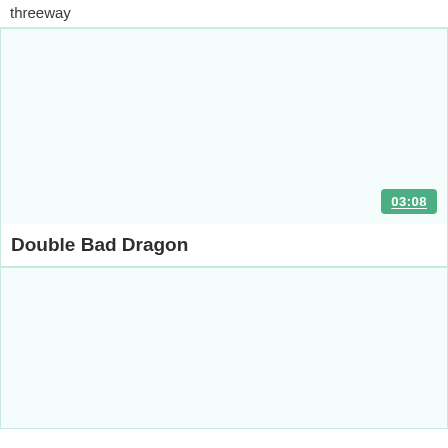threeway
[Figure (screenshot): Video thumbnail placeholder area with a green duration badge showing 03:08 in the bottom right corner]
Double Bad Dragon
[Figure (screenshot): Second video thumbnail placeholder area, blank white/light green content area]